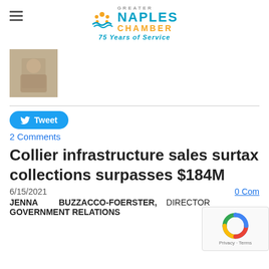Greater Naples Chamber — 75 Years of Service
[Figure (photo): Small thumbnail photo of a woman at an event]
Tweet
2 Comments
Collier infrastructure sales surtax collections surpasses $184M
6/15/2021    0 Comments
JENNA BUZZACCO-FOERSTER, DIRECTOR GOVERNMENT RELATIONS